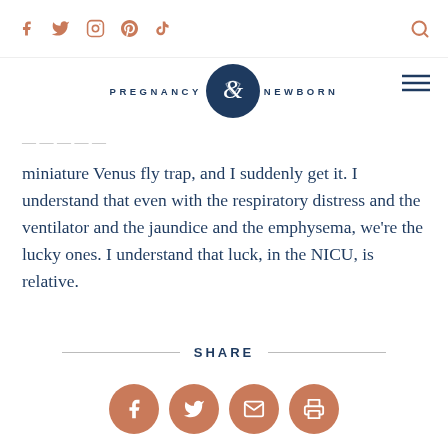Social media icons: Facebook, Twitter, Instagram, Pinterest, TikTok, Search
[Figure (logo): Pregnancy & Newborn magazine logo with dark blue circular emblem and ampersand]
miniature Venus fly trap, and I suddenly get it. I understand that even with the respiratory distress and the ventilator and the jaundice and the emphysema, we're the lucky ones. I understand that luck, in the NICU, is relative.
SHARE
[Figure (infographic): Share buttons: Facebook, Twitter, Email, Print icons in salmon/coral circles]